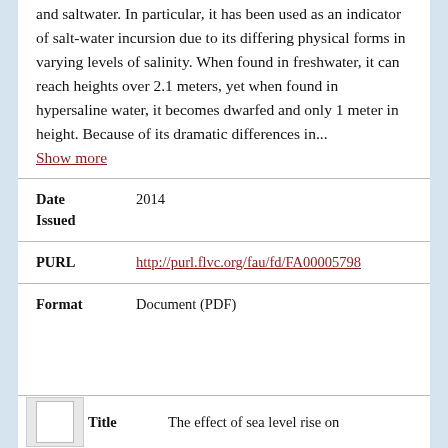and saltwater. In particular, it has been used as an indicator of salt-water incursion due to its differing physical forms in varying levels of salinity. When found in freshwater, it can reach heights over 2.1 meters, yet when found in hypersaline water, it becomes dwarfed and only 1 meter in height. Because of its dramatic differences in... Show more
| Field | Value |
| --- | --- |
| Date Issued | 2014 |
| PURL | http://purl.flvc.org/fau/fd/FA00005798 |
| Format | Document (PDF) |
Title   The effect of sea level rise on